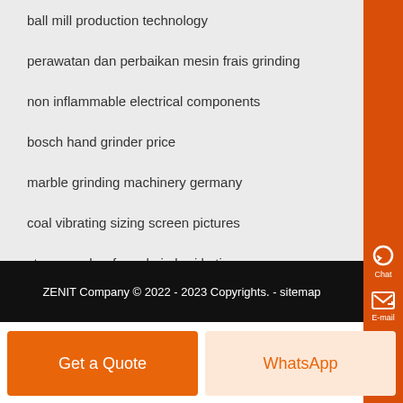ball mill production technology
perawatan dan perbaikan mesin frais grinding
non inflammable electrical components
bosch hand grinder price
marble grinding machinery germany
coal vibrating sizing screen pictures
stone crusher for sale in burj kotian
ZENIT Company © 2022 - 2023 Copyrights. - sitemap